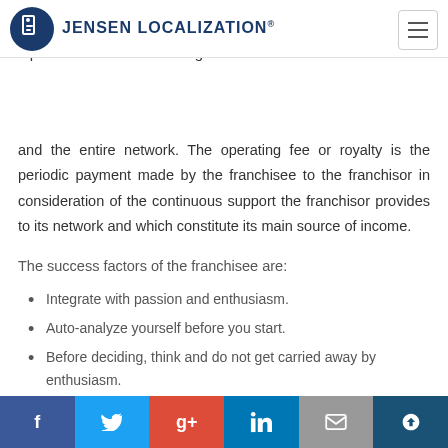Jensen Localization®
and the entire network. The operating fee or royalty is the periodic payment made by the franchisee to the franchisor in consideration of the continuous support the franchisor provides to its network and which constitute its main source of income.
The success factors of the franchisee are:
Integrate with passion and enthusiasm.
Auto-analyze yourself before you start.
Before deciding, think and do not get carried away by enthusiasm.
Get all necessary information about the franchise.
Social share bar: Facebook, Twitter, Google+, LinkedIn, Email, SumoMe